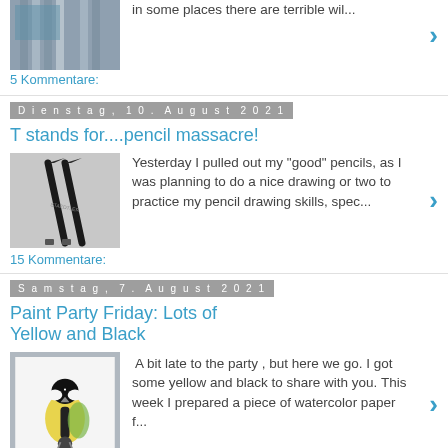[Figure (photo): Thumbnail of pencils/stripes at top of page]
in some places there are terrible wil...
5 Kommentare:
Dienstag, 10. August 2021
T stands for....pencil massacre!
[Figure (photo): Thumbnail of two dark pencils on grey background]
Yesterday I pulled out my "good" pencils, as I was planning to do a nice drawing or two to practice my pencil drawing skills, spec...
15 Kommentare:
Samstag, 7. August 2021
Paint Party Friday: Lots of Yellow and Black
[Figure (photo): Thumbnail of a great tit bird (yellow and black) on white background]
A bit late to the party , but here we go. I got some yellow and black to share with you. This week I prepared a piece of watercolor paper f...